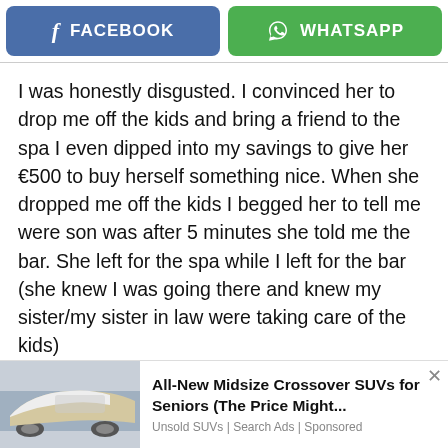[Figure (screenshot): Facebook and WhatsApp share buttons at top]
I was honestly disgusted. I convinced her to drop me off the kids and bring a friend to the spa I even dipped into my savings to give her €500 to buy herself something nice. When she dropped me off the kids I begged her to tell me were son was after 5 minutes she told me the bar. She left for the spa while I left for the bar (she knew I was going there and knew my sister/my sister in law were taking care of the kids)
I went to the bar were he and his friends were, I sat
[Figure (screenshot): Advertisement: All-New Midsize Crossover SUVs for Seniors (The Price Might... Unsold SUVs | Search Ads | Sponsored, with a car image on the left]